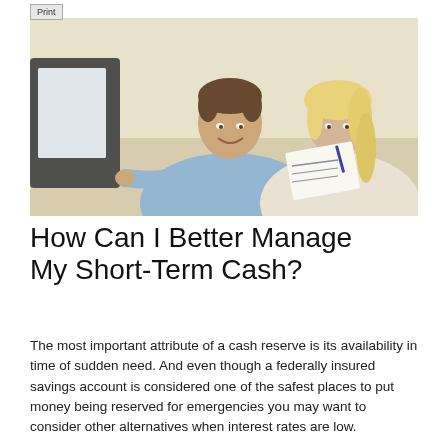[Figure (photo): A smiling man and woman sitting together looking at a computer monitor; the woman is holding papers and a pen.]
How Can I Better Manage My Short-Term Cash?
The most important attribute of a cash reserve is its availability in time of sudden need. And even though a federally insured savings account is considered one of the safest places to put money being reserved for emergencies you may want to consider other alternatives when interest rates are low.